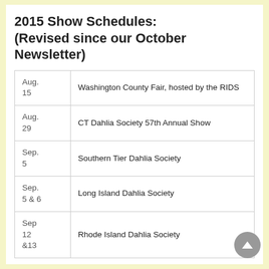2015 Show Schedules: (Revised since our October Newsletter)
| Date | Event |
| --- | --- |
| Aug. 15 | Washington County Fair, hosted by the RIDS |
| Aug. 29 | CT Dahlia Society 57th Annual Show |
| Sep. 5 | Southern Tier Dahlia Society |
| Sep. 5 & 6 | Long Island Dahlia Society |
| Sep 12 &13 | Rhode Island Dahlia Society |